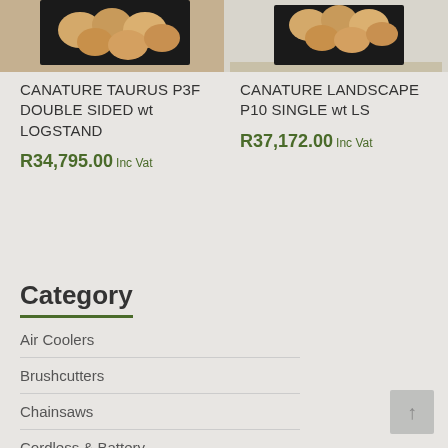[Figure (photo): Top portion of product image for CANATURE TAURUS P3F DOUBLE SIDED with LOGSTAND - shows logs and black frame]
[Figure (photo): Top portion of product image for CANATURE LANDSCAPE P10 SINGLE with LS - shows logs and black frame on wood floor]
CANATURE TAURUS P3F DOUBLE SIDED wt LOGSTAND
R34,795.00 Inc Vat
CANATURE LANDSCAPE P10 SINGLE wt LS
R37,172.00 Inc Vat
Category
Air Coolers
Brushcutters
Chainsaws
Cordless & Battery